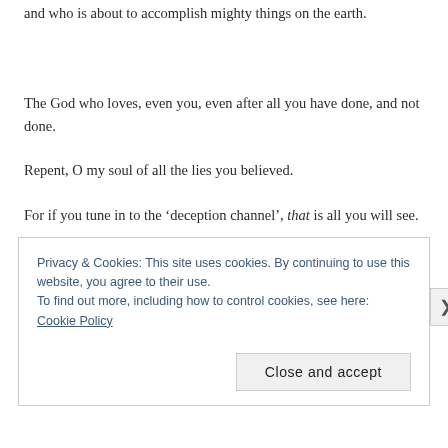and who is about to accomplish mighty things on the earth.
The God who loves, even you, even after all you have done, and not done.
Repent, O my soul of all the lies you believed.
For if you tune in to the ‘deception channel’, that is all you will see.
If you listen to the lies of the media, that will flood your soul with lies
Privacy & Cookies: This site uses cookies. By continuing to use this website, you agree to their use.
To find out more, including how to control cookies, see here: Cookie Policy
Close and accept